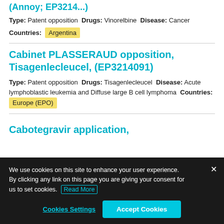(Annoy; EP3214...)
Type: Patent opposition Drugs: Vinorelbine Disease: Cancer
Countries: Argentina
Cabinet PLASSERAUD opposition, Tisagenlecleucel, (EP3214091)
Type: Patent opposition Drugs: Tisagenlecleucel Disease: Acute lymphoblastic leukemia and Diffuse large B cell lymphoma Countries: Europe (EPO)
Cabotegravir application,
We use cookies on this site to enhance your user experience. By clicking any link on this page you are giving your consent for us to set cookies. Read More
Cookies Settings   Accept Cookies